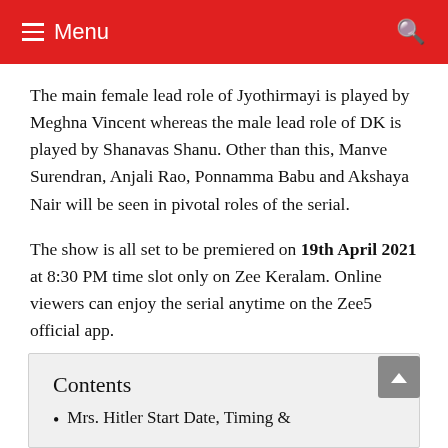≡ Menu
The main female lead role of Jyothirmayi is played by Meghna Vincent whereas the male lead role of DK is played by Shanavas Shanu. Other than this, Manve Surendran, Anjali Rao, Ponnamma Babu and Akshaya Nair will be seen in pivotal roles of the serial.
The show is all set to be premiered on 19th April 2021 at 8:30 PM time slot only on Zee Keralam. Online viewers can enjoy the serial anytime on the Zee5 official app.
Contents
Mrs. Hitler Start Date, Timing &